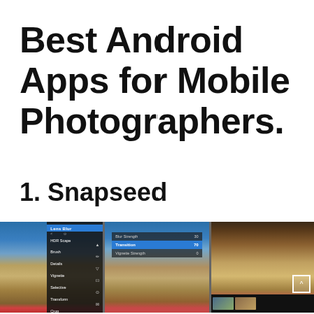Best Android Apps for Mobile Photographers.
1. Snapseed
[Figure (screenshot): Three screenshots of the Snapseed photo editing app for Android, showing different editing interfaces: a tools menu panel on the left, a lens blur/transition adjustment overlay in the middle, and a vintage-filtered church photo on the right.]